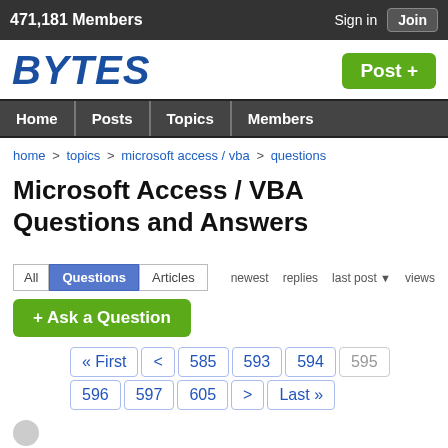471,181 Members   Sign in   Join
[Figure (logo): BYTES logo in blue italic bold text]
Post +
Home  Posts  Topics  Members
home > topics > microsoft access / vba > questions
Microsoft Access / VBA Questions and Answers
newest   replies   last post ▼   views
All   Questions   Articles
+ Ask a Question
« First   <   585   593   594   595   596   597   605   >   Last »